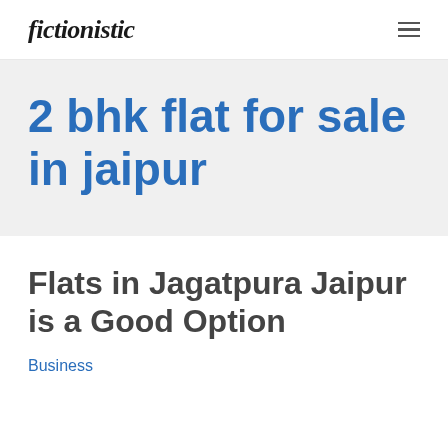fictionistic
2 bhk flat for sale in jaipur
Flats in Jagatpura Jaipur is a Good Option
Business